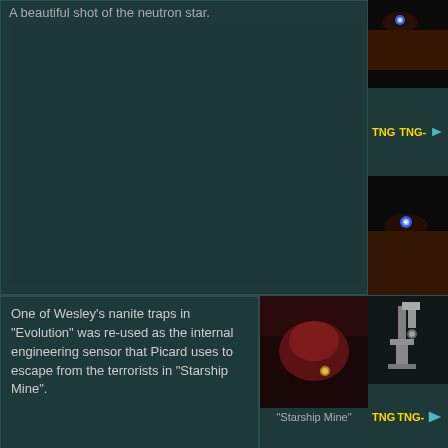A beautiful shot of the neutron star.
[Figure (photo): Dark image of a neutron star with a bright blue-white point of light against a dark reddish background]
[Figure (screenshot): Navigation bar showing TNG TNG- labels with a teal arrow pointing right]
[Figure (photo): Second dark image of a neutron star with a bright blue-white glowing point against dark reddish background]
One of Wesley's nanite traps in "Evolution" was re-used as the internal engineering sensor that Picard uses to escape from the terrorists in "Starship Mine".
[Figure (photo): Close-up image from Starship Mine episode showing a device or prop]
"Starship Mine"
[Figure (photo): Image of a microscope or scientific instrument in dark setting]
[Figure (screenshot): Navigation bar showing TNG TNG- labels with a teal arrow pointing right]